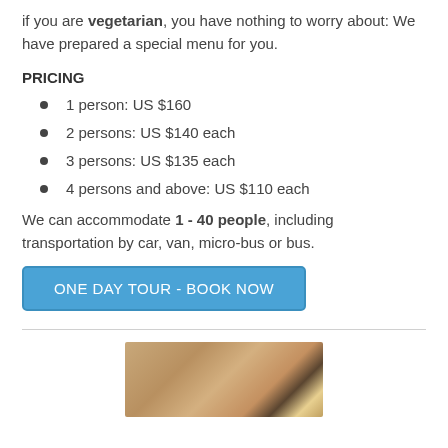if you are vegetarian, you have nothing to worry about: We have prepared a special menu for you.
PRICING
1 person: US $160
2 persons: US $140 each
3 persons: US $135 each
4 persons and above: US $110 each
We can accommodate 1 - 40 people, including transportation by car, van, micro-bus or bus.
[Figure (other): Blue button reading 'ONE DAY TOUR - BOOK NOW']
[Figure (photo): Photo of an animal (possibly a squirrel or small creature) on sandy/rocky ground]